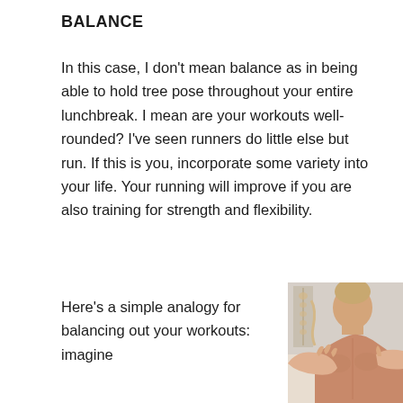BALANCE
In this case, I don't mean balance as in being able to hold tree pose throughout your entire lunchbreak. I mean are your workouts well-rounded? I've seen runners do little else but run. If this is you, incorporate some variety into your life. Your running will improve if you are also training for strength and flexibility.
Here's a simple analogy for balancing out your workouts: imagine
[Figure (photo): Photo of a person's back being massaged by hands, viewed from behind, showing bare skin and a therapist's hands on the shoulder area.]